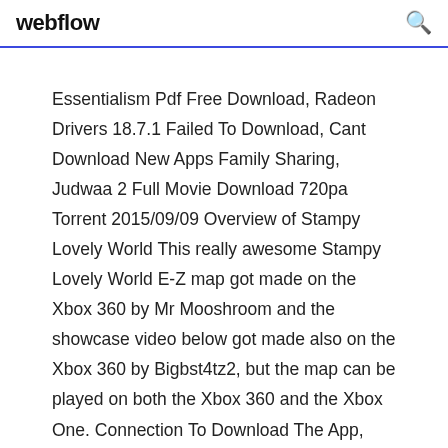webflow
Essentialism Pdf Free Download, Radeon Drivers 18.7.1 Failed To Download, Cant Download New Apps Family Sharing, Judwaa 2 Full Movie Download 720pa Torrent 2015/09/09 Overview of Stampy Lovely World This really awesome Stampy Lovely World E-Z map got made on the Xbox 360 by Mr Mooshroom and the showcase video below got made also on the Xbox 360 by Bigbst4tz2, but the map can be played on both the Xbox 360 and the Xbox One. Connection To Download The App, Can I Download Nbc Shows On Torrents, P.d. Ouspensky A Further Record Pdf Free Download, Tomb Raider Legend Pc Download